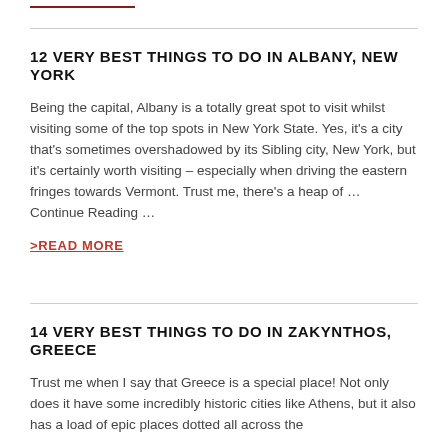12 VERY BEST THINGS TO DO IN ALBANY, NEW YORK
Being the capital, Albany is a totally great spot to visit whilst visiting some of the top spots in New York State. Yes, it's a city that's sometimes overshadowed by its Sibling city, New York, but it's certainly worth visiting – especially when driving the eastern fringes towards Vermont. Trust me, there's a heap of … Continue Reading …
>READ MORE
14 VERY BEST THINGS TO DO IN ZAKYNTHOS, GREECE
Trust me when I say that Greece is a special place! Not only does it have some incredibly historic cities like Athens, but it also has a load of epic places dotted all across the